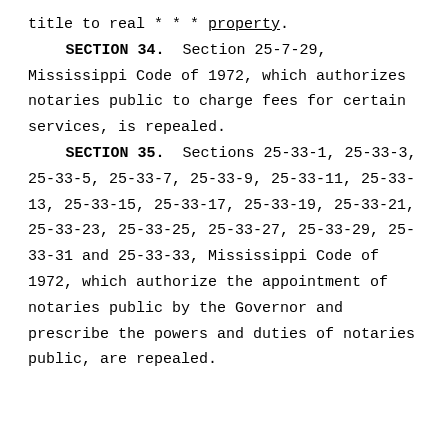title to real * * * property.
SECTION 34. Section 25-7-29, Mississippi Code of 1972, which authorizes notaries public to charge fees for certain services, is repealed.
SECTION 35. Sections 25-33-1, 25-33-3, 25-33-5, 25-33-7, 25-33-9, 25-33-11, 25-33-13, 25-33-15, 25-33-17, 25-33-19, 25-33-21, 25-33-23, 25-33-25, 25-33-27, 25-33-29, 25-33-31 and 25-33-33, Mississippi Code of 1972, which authorize the appointment of notaries public by the Governor and prescribe the powers and duties of notaries public, are repealed.